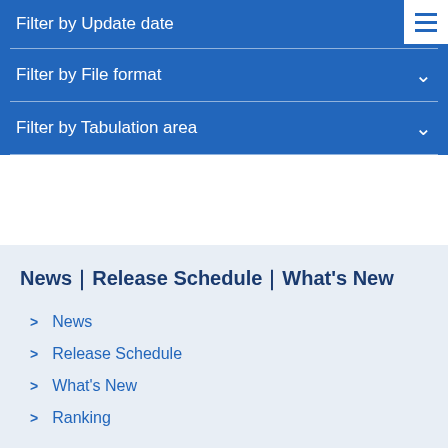Filter by Update date
Filter by File format
Filter by Tabulation area
News｜Release Schedule｜What's New
News
Release Schedule
What's New
Ranking
Browse Statistics